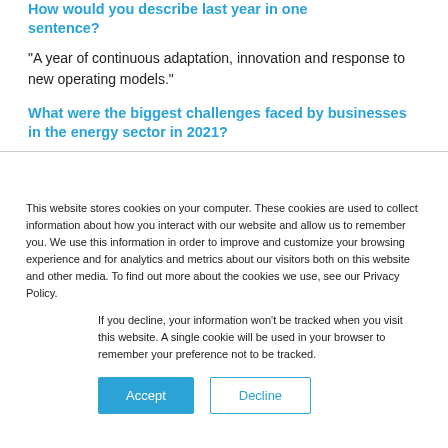How would you describe last year in one sentence?
“A year of continuous adaptation, innovation and response to new operating models.”
What were the biggest challenges faced by businesses in the energy sector in 2021?
This website stores cookies on your computer. These cookies are used to collect information about how you interact with our website and allow us to remember you. We use this information in order to improve and customize your browsing experience and for analytics and metrics about our visitors both on this website and other media. To find out more about the cookies we use, see our Privacy Policy.
If you decline, your information won’t be tracked when you visit this website. A single cookie will be used in your browser to remember your preference not to be tracked.
Accept | Decline